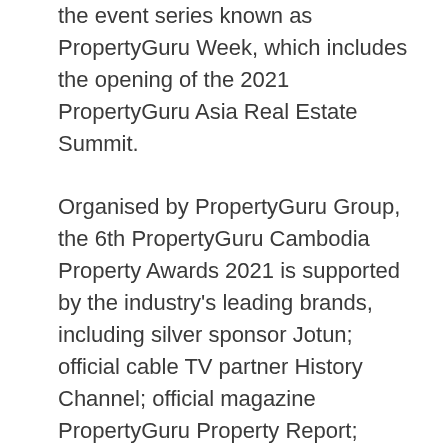the event series known as PropertyGuru Week, which includes the opening of the 2021 PropertyGuru Asia Real Estate Summit.
Organised by PropertyGuru Group, the 6th PropertyGuru Cambodia Property Awards 2021 is supported by the industry's leading brands, including silver sponsor Jotun; official cable TV partner History Channel; official magazine PropertyGuru Property Report; official PR partner Two Way PR; media partner Construction & Property Magazine; official charity partner Right To Play; official ESG